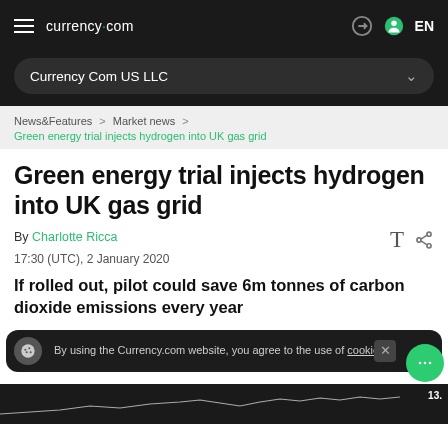currency.com
Currency Com US LLC
News&Features > Market news > Green energy trial injects hydrogen into UK gas grid
Green energy trial injects hydrogen into UK gas grid
By Charlotte Ricca
17:30 (UTC), 2 January 2020
If rolled out, pilot could save 6m tonnes of carbon dioxide emissions every year
By using the Currency.com website, you agree to the use of cookies.
[Figure (screenshot): Partial chart strip at the bottom of the page showing a financial line chart with price around 13.x]